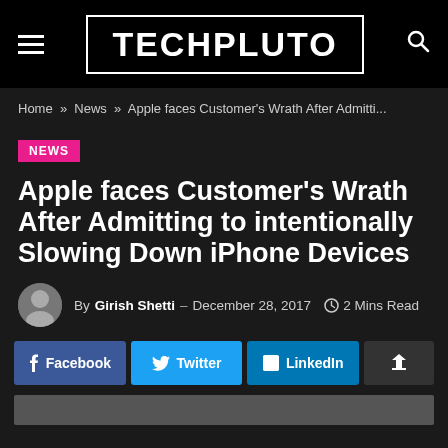TECHPLUTO
Home » News » Apple faces Customer's Wrath After Admitti...
NEWS
Apple faces Customer's Wrath After Admitting to intentionally Slowing Down iPhone Devices
By Girish Shetti – December 28, 2017  2 Mins Read
Facebook  Twitter  LinkedIn